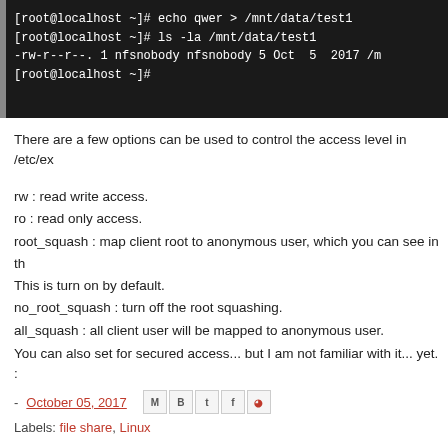[Figure (screenshot): Terminal window showing commands: echo qwer > /mnt/data/test1, ls -la /mnt/data/test1, output showing -rw-r--r-- 1 nfsnobody nfsnobody 5 Oct 5 2017 /m, and final prompt [root@localhost ~]#]
There are a few options can be used to control the access level in /etc/ex
rw : read write access.
ro : read only access.
root_squash : map client root to anonymous user, which you can see in th This is turn on by default.
no_root_squash : turn off the root squashing.
all_squash : all client user will be mapped to anonymous user.
You can also set for secured access... but I am not familiar with it... yet. :
- October 05, 2017  [share icons]
Labels: file share, Linux
No comments:
Post a Comment